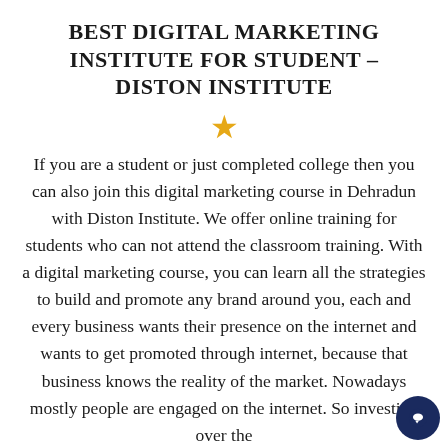BEST DIGITAL MARKETING INSTITUTE FOR STUDENT – DISTON INSTITUTE
[Figure (illustration): A single gold/yellow star icon centered on the page]
If you are a student or just completed college then you can also join this digital marketing course in Dehradun with Diston Institute. We offer online training for students who can not attend the classroom training. With a digital marketing course, you can learn all the strategies to build and promote any brand around you, each and every business wants their presence on the internet and wants to get promoted through internet, because that business knows the reality of the market. Nowadays mostly people are engaged on the internet. So investing over the